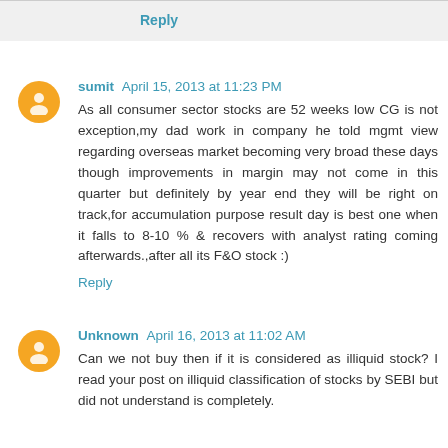Reply
sumit April 15, 2013 at 11:23 PM
As all consumer sector stocks are 52 weeks low CG is not exception,my dad work in company he told mgmt view regarding overseas market becoming very broad these days though improvements in margin may not come in this quarter but definitely by year end they will be right on track,for accumulation purpose result day is best one when it falls to 8-10 % & recovers with analyst rating coming afterwards.,after all its F&O stock :)
Reply
Unknown April 16, 2013 at 11:02 AM
Can we not buy then if it is considered as illiquid stock? I read your post on illiquid classification of stocks by SEBI but did not understand is completely.